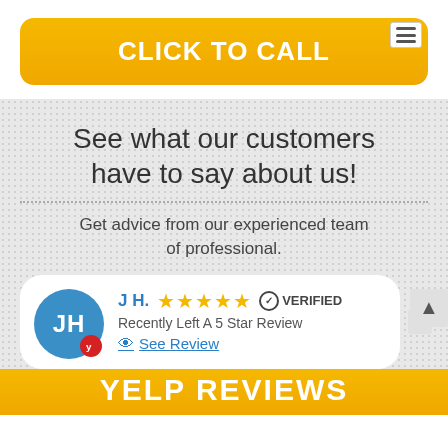CLICK TO CALL
See what our customers have to say about us!
Get advice from our experienced team of professional.
J H. ★★★★★ VERIFIED
Recently Left A 5 Star Review
See Review
YELP REVIEWS